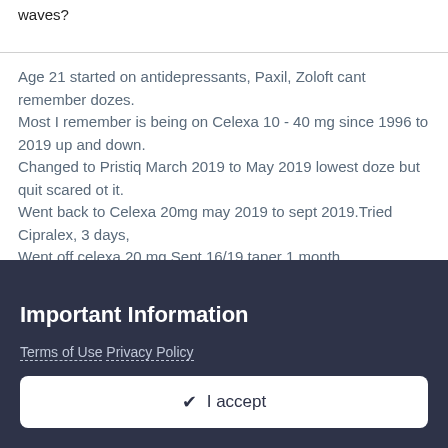waves?
Age 21 started on antidepressants, Paxil, Zoloft cant remember dozes.
Most I remember is being on Celexa 10 - 40 mg since 1996 to 2019 up and down.
Changed to Pristiq March 2019 to May 2019 lowest doze but quit scared ot it.
Went back to Celexa 20mg may 2019 to sept 2019.Tried Cipralex, 3 days,
Went off celexa 20 mg Sept 16/19 taper 1 month.
Took Ativan .5 to 1 mg on and off for years and some Clonazepam for anxiety.
Ativan in dec 2019 about 10 and in jan 2019  .05mg
Important Information
Terms of Use Privacy Policy
✓ I accept